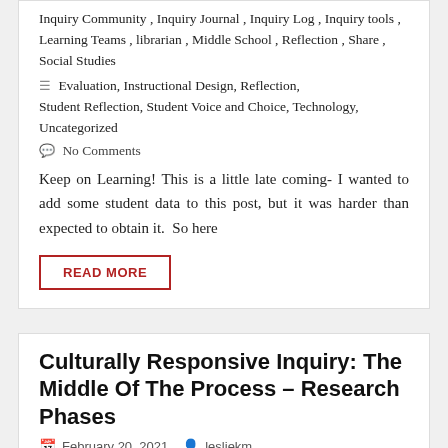Inquiry Community , Inquiry Journal , Inquiry Log , Inquiry tools , Learning Teams , librarian , Middle School , Reflection , Share , Social Studies
Evaluation, Instructional Design, Reflection, Student Reflection, Student Voice and Choice, Technology, Uncategorized
No Comments
Keep on Learning! This is a little late coming- I wanted to add some student data to this post, but it was harder than expected to obtain it. So here
READ MORE
Culturally Responsive Inquiry: The Middle Of The Process – Research Phases
February 20, 2021   lesliekm
Collaboration , english , Explore , Gather , Identify , librarian , literature , Middle School , Phases , research , Social Studies , student voice , Third Space